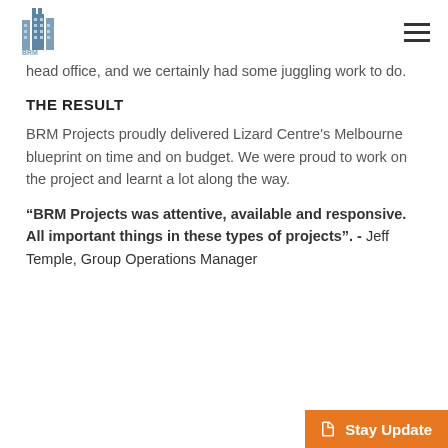BRM Projects logo and navigation menu
head office, and we certainly had some juggling work to do.
THE RESULT
BRM Projects proudly delivered Lizard Centre's Melbourne blueprint on time and on budget. We were proud to work on the project and learnt a lot along the way.
“BRM Projects was attentive, available and responsive. All important things in these types of projects”. - Jeff Temple, Group Operations Manager